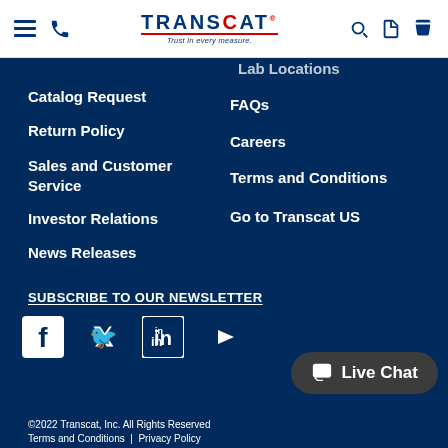TRANSCAT — Trust in every measure (navigation header with hamburger menu, phone, search, document, and cart icons)
Lab Locations (partially visible)
Catalog Request
Return Policy
Sales and Customer Service
Investor Relations
News Releases
FAQs
Careers
Terms and Conditions
Go to Transcat US
SUBSCRIBE TO OUR NEWSLETTER
[Figure (illustration): Social media icons: Facebook, Twitter, LinkedIn, YouTube]
[Figure (illustration): Live Chat button with chat icon]
©2022 Transcat, Inc. All Rights Reserved | Terms and Conditions | Privacy Policy